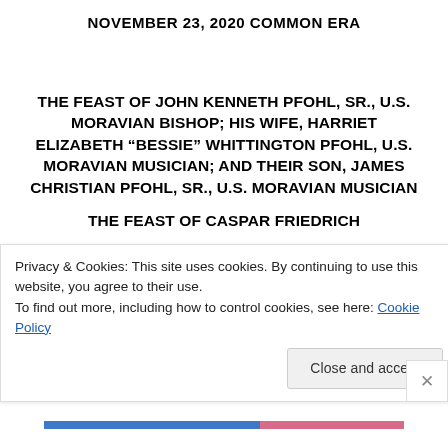NOVEMBER 23, 2020 COMMON ERA
THE FEAST OF JOHN KENNETH PFOHL, SR., U.S. MORAVIAN BISHOP; HIS WIFE, HARRIET ELIZABETH “BESSIE” WHITTINGTON PFOHL, U.S. MORAVIAN MUSICIAN; AND THEIR SON, JAMES CHRISTIAN PFOHL, SR., U.S. MORAVIAN MUSICIAN
THE FEAST OF CASPAR FRIEDRICH
Privacy & Cookies: This site uses cookies. By continuing to use this website, you agree to their use.
To find out more, including how to control cookies, see here: Cookie Policy
Close and accept